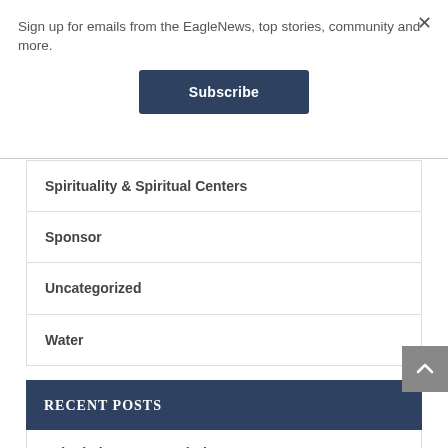Sign up for emails from the EagleNews, top stories, community and more.
Subscribe
Spirituality & Spiritual Centers
Sponsor
Uncategorized
Water
RECENT POSTS
Job Listing-Deputy Clerk